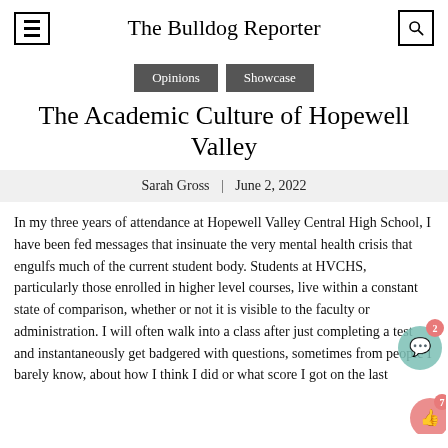The Bulldog Reporter
Opinions | Showcase
The Academic Culture of Hopewell Valley
Sarah Gross | June 2, 2022
In my three years of attendance at Hopewell Valley Central High School, I have been fed messages that insinuate the very mental health crisis that engulfs much of the current student body. Students at HVCHS, particularly those enrolled in higher level courses, live within a constant state of comparison, whether or not it is visible to the faculty or administration. I will often walk into a class after just completing a test and instantaneously get badgered with questions, sometimes from people I barely know, about how I think I did or what score I got on the last